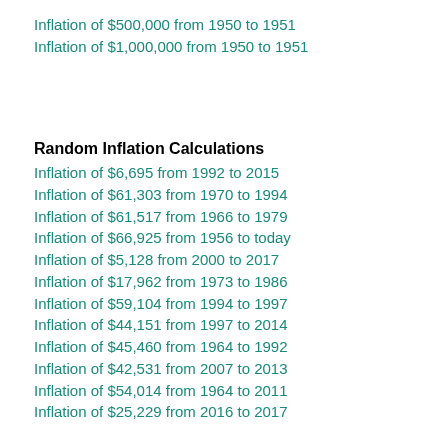Inflation of $500,000 from 1950 to 1951
Inflation of $1,000,000 from 1950 to 1951
Random Inflation Calculations
Inflation of $6,695 from 1992 to 2015
Inflation of $61,303 from 1970 to 1994
Inflation of $61,517 from 1966 to 1979
Inflation of $66,925 from 1956 to today
Inflation of $5,128 from 2000 to 2017
Inflation of $17,962 from 1973 to 1986
Inflation of $59,104 from 1994 to 1997
Inflation of $44,151 from 1997 to 2014
Inflation of $45,460 from 1964 to 1992
Inflation of $42,531 from 2007 to 2013
Inflation of $54,014 from 1964 to 2011
Inflation of $25,229 from 2016 to 2017